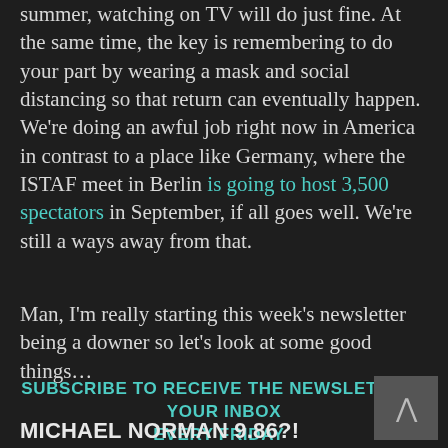summer, watching on TV will do just fine. At the same time, the key is remembering to do your part by wearing a mask and social distancing so that return can eventually happen. We're doing an awful job right now in America in contrast to a place like Germany, where the ISTAF meet in Berlin is going to host 3,500 spectators in September, if all goes well. We're still a ways away from that.
Man, I'm really starting this week's newsletter being a downer so let's look at some good things…
SUBSCRIBE TO RECEIVE THE NEWSLETTER IN YOUR INBOX EVERY FRIDAY
MICHAEL NORMAN 9.86?!